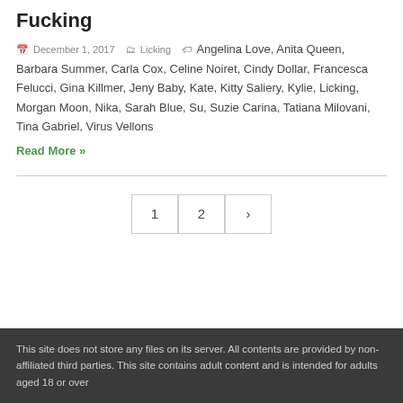Fucking
December 1, 2017   Licking   Angelina Love, Anita Queen, Barbara Summer, Carla Cox, Celine Noiret, Cindy Dollar, Francesca Felucci, Gina Killmer, Jeny Baby, Kate, Kitty Saliery, Kylie, Licking, Morgan Moon, Nika, Sarah Blue, Su, Suzie Carina, Tatiana Milovani, Tina Gabriel, Virus Vellons
Read More »
1  2  ›
This site does not store any files on its server. All contents are provided by non-affiliated third parties. This site contains adult content and is intended for adults aged 18 or over